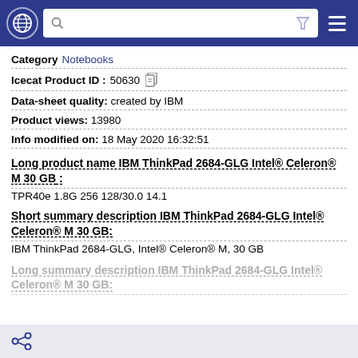Navigation bar with globe, search, filter and menu icons
Category Notebooks
Icecat Product ID : 50630
Data-sheet quality: created by IBM
Product views: 13980
Info modified on: 18 May 2020 16:32:51
Long product name IBM ThinkPad 2684-GLG Intel® Celeron® M 30 GB :
TPR40e 1.8G 256 128/30.0 14.1
Short summary description IBM ThinkPad 2684-GLG Intel® Celeron® M 30 GB:
IBM ThinkPad 2684-GLG, Intel® Celeron® M, 30 GB
Long summary description IBM ThinkPad 2684-GLG Intel® Celeron® M 30 GB:
Share icon